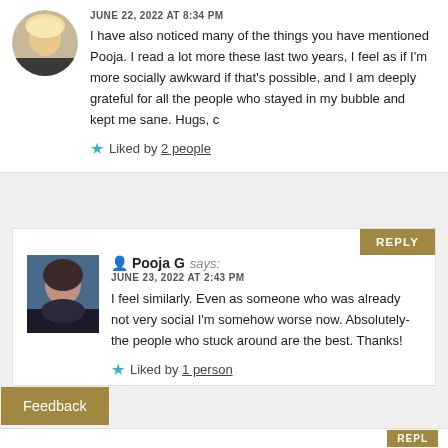JUNE 22, 2022 AT 8:34 PM
I have also noticed many of the things you have mentioned Pooja. I read a lot more these last two years, I feel as if I'm more socially awkward if that's possible, and I am deeply grateful for all the people who stayed in my bubble and kept me sane. Hugs, c
Liked by 2 people
Pooja G says:
JUNE 23, 2022 AT 2:43 PM
I feel similarly. Even as someone who was already not very social I'm somehow worse now. Absolutely- the people who stuck around are the best. Thanks!
Liked by 1 person